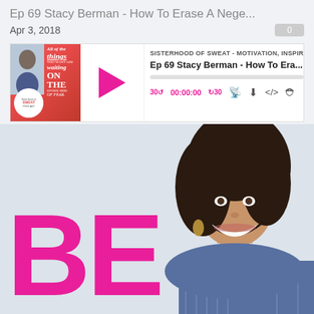Ep 69 Stacy Berman - How To Erase A Nega...
Apr 3, 2018
[Figure (screenshot): Podcast player widget for Sisterhood of Sweat podcast. Shows album art on left with red background, italic text 'All of the things you want are waiting ON THE other side of fear', play button in center, episode title 'Ep 69 Stacy Berman - How To Era...' on right. Controls show 30s rewind, 00:00:00 timestamp, 30s forward, and share/download/embed icons.]
[Figure (photo): Large promotional image showing a smiling woman with dark curly hair and gold earrings, wearing a blue/striped top. Large bold pink text 'BE' overlaid on white/light background on the left side of the image.]